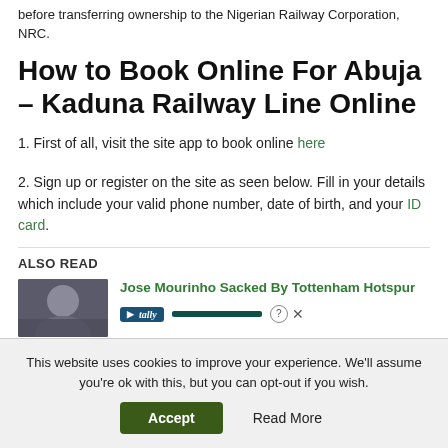before transferring ownership to the Nigerian Railway Corporation, NRC.
How to Book Online For Abuja – Kaduna Railway Line Online
1. First of all, visit the site app to book online here
2. Sign up or register on the site as seen below. Fill in your details which include your valid phone number, date of birth, and your ID card.
ALSO READ
Jose Mourinho Sacked By Tottenham Hotspur
This website uses cookies to improve your experience. We'll assume you're ok with this, but you can opt-out if you wish.